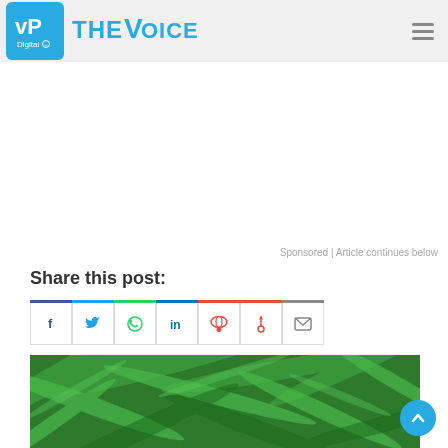VP Digital | The Voice
[Figure (other): Advertisement / sponsored content area (blank white space)]
Sponsored | Article continues below
Share this post:
[Figure (other): Social share buttons: Facebook, Twitter, WhatsApp, LinkedIn, Reddit, Pinterest, Email]
[Figure (photo): Green tropical palm leaves photo with a partially visible person at the bottom]